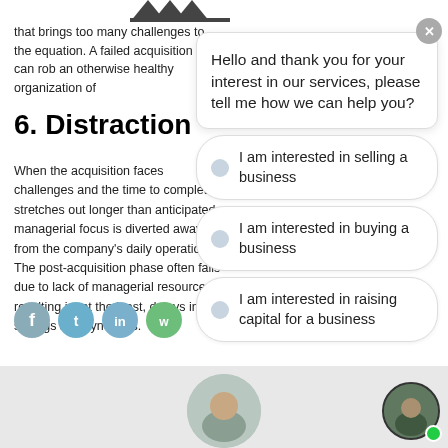acquisition may target a business that brings too many challenges to the equation. A failed acquisition can rob an otherwise healthy organization of
6. Distraction
When the acquisition faces challenges and the time to completion stretches out longer than anticipated, managerial focus is diverted away from the company's daily operations. The post-acquisition phase often fails due to lack of managerial resources, resulting in, at the least, delays in savings and synergies.
[Figure (screenshot): Chat widget overlay with greeting message and three options: I am interested in selling a business, I am interested in buying a business, I am interested in raising capital for a business]
[Figure (photo): Bottom strip showing two circular avatar photos of people, with a green online indicator dot]